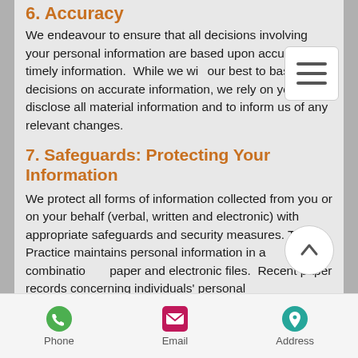6. Accuracy
We endeavour to ensure that all decisions involving your personal information are based upon accurate and timely information.  While we will our best to base our decisions on accurate information, we rely on you to disclose all material information and to inform us of any relevant changes.
7. Safeguards: Protecting Your Information
We protect all forms of information collected from you or on your behalf (verbal, written and electronic) with appropriate safeguards and security measures. The Practice maintains personal information in a combination of paper and electronic files.  Recent paper records concerning individuals' personal
Phone   Email   Address